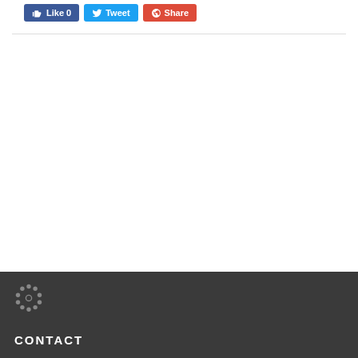[Figure (screenshot): Social media sharing buttons: Like 0 (Facebook, blue), Tweet (Twitter, blue), Share (Google+, red)]
CONTACT